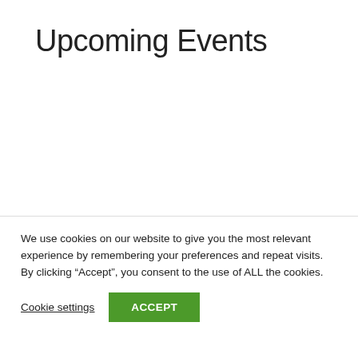Upcoming Events
We use cookies on our website to give you the most relevant experience by remembering your preferences and repeat visits. By clicking “Accept”, you consent to the use of ALL the cookies.
Cookie settings  ACCEPT